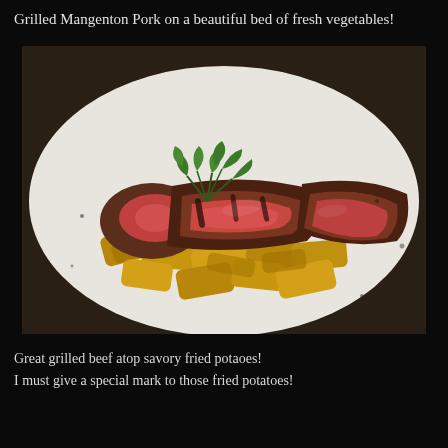Grilled Mangenton Pork on a beautiful bed of fresh vegetables!
[Figure (photo): A plated dish of sliced grilled pork (pink and charred interior visible) on top of golden fried potato wedges, garnished with fresh green arugula leaves on a white plate, photographed in warm restaurant lighting.]
Great grilled beef atop savory fried potaoes!
I must give a special mark to those fried potatoes!